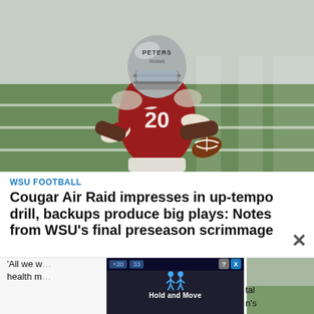[Figure (photo): Football player wearing a gray helmet with 'PETERS' on it, number 20 jersey in red/crimson, carrying a football during what appears to be a WSU practice or scrimmage on a green field.]
WSU FOOTBALL
Cougar Air Raid impresses in up-tempo drill, backups produce big plays: Notes from WSU's final preseason scrimmage
Updated 8:07 p.m.
'All we w... tal health m... n's
[Figure (screenshot): Ad overlay showing 'Hold and Move' with two figures icon, score bar showing +20 and 33, help and close icons, and a background outdoor photo.]